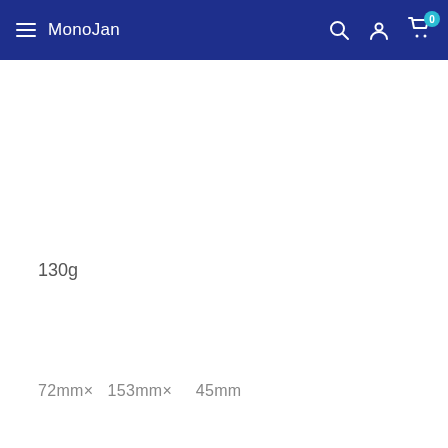MonoJan
130g
72mm× 153mm× 45mm